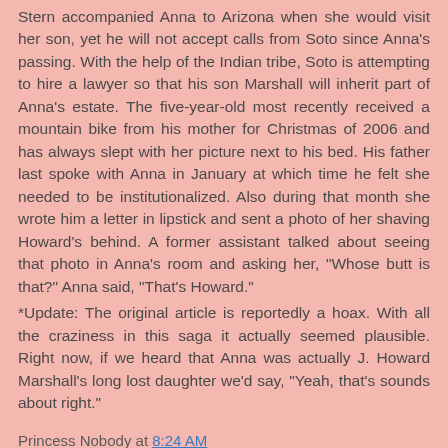Stern accompanied Anna to Arizona when she would visit her son, yet he will not accept calls from Soto since Anna's passing. With the help of the Indian tribe, Soto is attempting to hire a lawyer so that his son Marshall will inherit part of Anna's estate. The five-year-old most recently received a mountain bike from his mother for Christmas of 2006 and has always slept with her picture next to his bed. His father last spoke with Anna in January at which time he felt she needed to be institutionalized. Also during that month she wrote him a letter in lipstick and sent a photo of her shaving Howard's behind. A former assistant talked about seeing that photo in Anna's room and asking her, "Whose butt is that?" Anna said, "That's Howard."
*Update: The original article is reportedly a hoax. With all the craziness in this saga it actually seemed plausible. Right now, if we heard that Anna was actually J. Howard Marshall's long lost daughter we'd say, "Yeah, that's sounds about right."
Princess Nobody at 8:24 AM